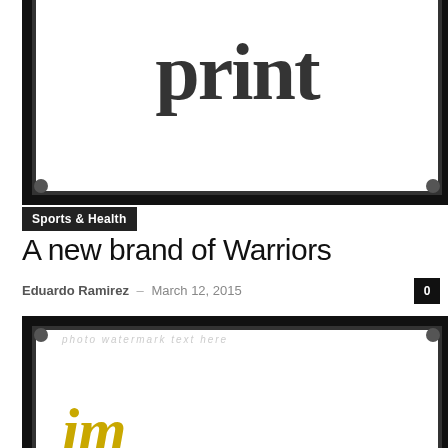[Figure (photo): Framed graphic showing the word 'print' in large bold serif typeface, partially cropped, inside a thick black border frame]
Sports & Health
A new brand of Warriors
Eduardo Ramirez – March 12, 2015
[Figure (photo): Framed graphic showing the letters 'im' in large gold/yellow italic serif typeface, partially cropped, inside a thick black border frame, with faint watermark text in background]